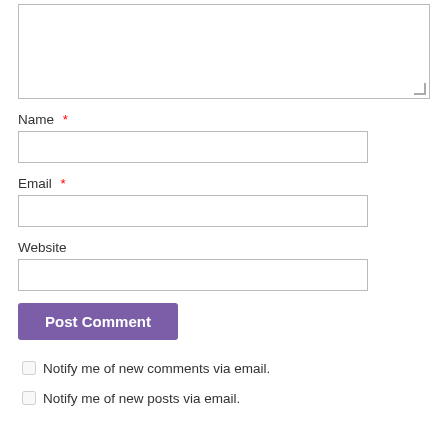[Figure (screenshot): A textarea input box (comment field), partially visible at top of page]
Name *
[Figure (screenshot): Name text input field]
Email *
[Figure (screenshot): Email text input field]
Website
[Figure (screenshot): Website text input field]
[Figure (screenshot): Post Comment button (purple/violet background, white text)]
Notify me of new comments via email.
Notify me of new posts via email.